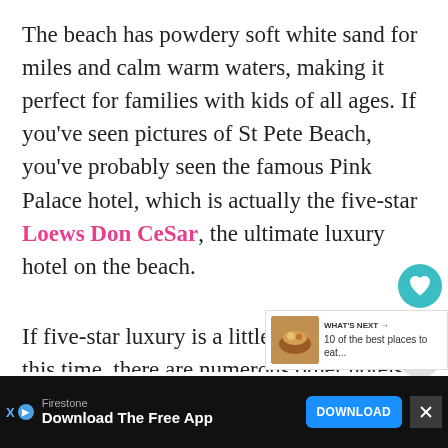The beach has powdery soft white sand for miles and calm warm waters, making it perfect for families with kids of all ages. If you've seen pictures of St Pete Beach, you've probably seen the famous Pink Palace hotel, which is actually the five-star Loews Don CeSar, the ultimate luxury hotel on the beach.
If five-star luxury is a little out of budget this time, there are numerous other hotels to suit all tastes and even camping options at the nearby Fort De Soto National Park, where you can walk the beach in actual paradise.
[Figure (other): Bottom advertisement bar: Firestone 'Download The Free App' with a blue DOWNLOAD button and an X close button on the right.]